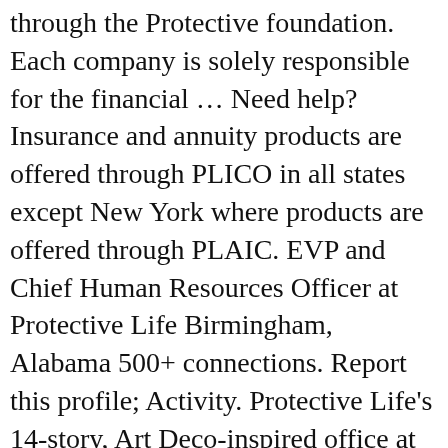through the Protective foundation. Each company is solely responsible for the financial … Need help? Insurance and annuity products are offered through PLICO in all states except New York where products are offered through PLAIC. EVP and Chief Human Resources Officer at Protective Life Birmingham, Alabama 500+ connections. Report this profile; Activity. Protective Life's 14-story, Art Deco-inspired office at 2027 1 st Avenue North was built in 1928 on top of the former three-story Birmingham Ledger building, the foundation of which was fortunately designed to accommodate many more floors. Each company is solely responsible … Insurance and annuities are issued by PLICO in all states except New York and in New York by PLAIC. These hardworking individuals play an important role in our commitment to bringing Birmingham